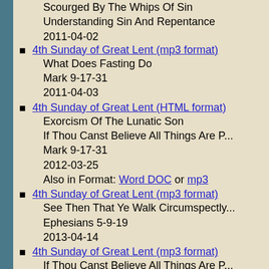Scourged By The Whips Of Sin
Understanding Sin And Repentance
2011-04-02
4th Sunday of Great Lent (mp3 format)
What Does Fasting Do
Mark 9-17-31
2011-04-03
4th Sunday of Great Lent (HTML format)
Exorcism Of The Lunatic Son
If Thou Canst Believe All Things Are P...
Mark 9-17-31
2012-03-25
Also in Format: Word DOC or mp3
4th Sunday of Great Lent (mp3 format)
See Then That Ye Walk Circumspectly...
Ephesians 5-9-19
2013-04-14
4th Sunday of Great Lent (mp3 format)
If Thou Canst Believe All Things Are P...
Mark 9-17-31